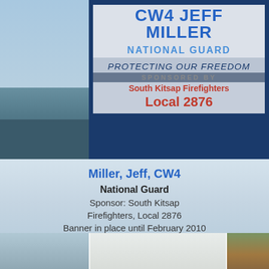[Figure (photo): Photo of a military honor banner on a pole reading CW4 JEFF MILLER NATIONAL GUARD PROTECTING OUR FREEDOM SPONSORED BY South Kitsap Firefighters Local 2876, mounted on a pole against a blue sky background]
Miller, Jeff, CW4
National Guard
Sponsor: South Kitsap Firefighters, Local 2876
Banner in place until February 2010
[Figure (photo): Partial photo at bottom showing a banner and outdoor scenery with trees and a wooden post]